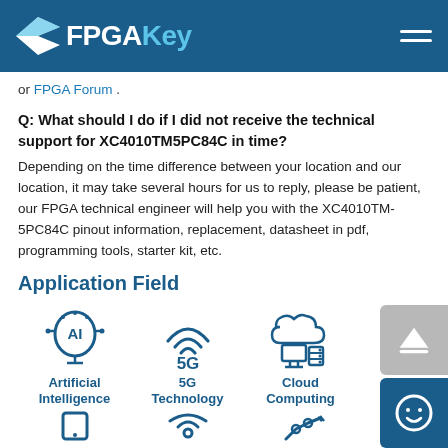FPGAKey
or FPGA Forum .
Q: What should I do if I did not receive the technical support for XC4010TM5PC84C in time?
Depending on the time difference between your location and our location, it may take several hours for us to reply, please be patient, our FPGA technical engineer will help you with the XC4010TM-5PC84C pinout information, replacement, datasheet in pdf, programming tools, starter kit, etc.
Application Field
[Figure (infographic): Application field icons: Artificial Intelligence (head with AI), 5G Technology (wifi-like 5G symbol), Cloud Computing (cloud and monitor)]
[Figure (infographic): Second row of application field icons (partial, cut off at bottom): mobile/tablet, wireless/IoT, and robotic arm/engineering]